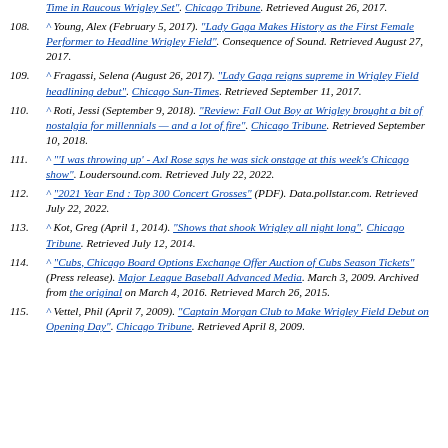(partial top) Time in Raucous Wrigley Set". Chicago Tribune. Retrieved August 26, 2017.
108. ^ Young, Alex (February 5, 2017). "Lady Gaga Makes History as the First Female Performer to Headline Wrigley Field". Consequence of Sound. Retrieved August 27, 2017.
109. ^ Fragassi, Selena (August 26, 2017). "Lady Gaga reigns supreme in Wrigley Field headlining debut". Chicago Sun-Times. Retrieved September 11, 2017.
110. ^ Roti, Jessi (September 9, 2018). "Review: Fall Out Boy at Wrigley brought a bit of nostalgia for millennials — and a lot of fire". Chicago Tribune. Retrieved September 10, 2018.
111. ^ "'I was throwing up' - Axl Rose says he was sick onstage at this week's Chicago show". Loudersound.com. Retrieved July 22, 2022.
112. ^ "2021 Year End : Top 300 Concert Grosses" (PDF). Data.pollstar.com. Retrieved July 22, 2022.
113. ^ Kot, Greg (April 1, 2014). "Shows that shook Wrigley all night long". Chicago Tribune. Retrieved July 12, 2014.
114. ^ "Cubs, Chicago Board Options Exchange Offer Auction of Cubs Season Tickets" (Press release). Major League Baseball Advanced Media. March 3, 2009. Archived from the original on March 4, 2016. Retrieved March 26, 2015.
115. ^ Vettel, Phil (April 7, 2009). "Captain Morgan Club to Make Wrigley Field Debut on Opening Day". Chicago Tribune. Retrieved April 8, 2009.